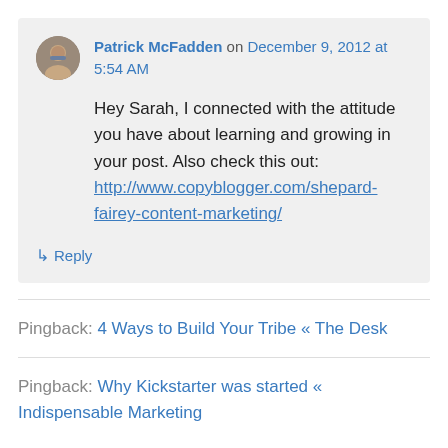Patrick McFadden on December 9, 2012 at 5:54 AM
Hey Sarah, I connected with the attitude you have about learning and growing in your post. Also check this out: http://www.copyblogger.com/shepard-fairey-content-marketing/
↳ Reply
Pingback: 4 Ways to Build Your Tribe « The Desk
Pingback: Why Kickstarter was started « Indispensable Marketing